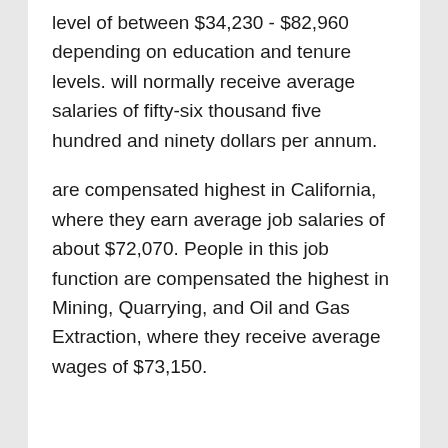level of between $34,230 - $82,960 depending on education and tenure levels. will normally receive average salaries of fifty-six thousand five hundred and ninety dollars per annum.
are compensated highest in California, where they earn average job salaries of about $72,070. People in this job function are compensated the highest in Mining, Quarrying, and Oil and Gas Extraction, where they receive average wages of $73,150.